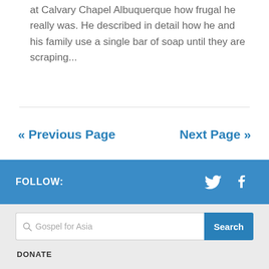at Calvary Chapel Albuquerque how frugal he really was. He described in detail how he and his family use a single bar of soap until they are scraping...
« Previous Page    Next Page »
FOLLOW:
[Figure (other): Twitter and Facebook social media icons in white on blue background]
[Figure (other): Search bar with placeholder text 'Gospel for Asia' and a blue Search button]
DONATE
[Figure (other): Yellow PayPal Donate button followed by payment method icons: VISA, Mastercard, Maestro, American Express, Discover, UnionPay]